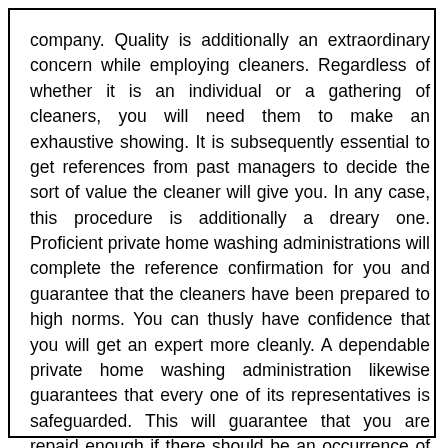company. Quality is additionally an extraordinary concern while employing cleaners. Regardless of whether it is an individual or a gathering of cleaners, you will need them to make an exhaustive showing. It is subsequently essential to get references from past managers to decide the sort of value the cleaner will give you. In any case, this procedure is additionally a dreary one. Proficient private home washing administrations will complete the reference confirmation for you and guarantee that the cleaners have been prepared to high norms. You can thusly have confidence that you will get an expert more cleanly. A dependable private home washing administration likewise guarantees that every one of its representatives is safeguarded. This will guarantee that you are repaid enough if there should be an occurrence of any mishaps or loss of things coming about because of the cleaner's exercises.